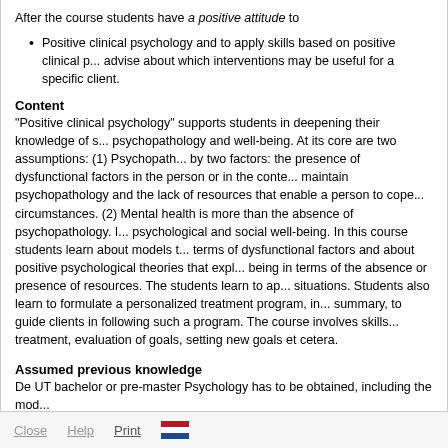After the course students have a positive attitude to
Positive clinical psychology and to apply skills based on positive clinical p... advise about which interventions may be useful for a specific client.
Content
“Positive clinical psychology” supports students in deepening their knowledge of s... psychopathology and well-being. At its core are two assumptions: (1) Psychopath... by two factors: the presence of dysfunctional factors in the person or in the conte... maintain psychopathology and the lack of resources that enable a person to cope... circumstances. (2) Mental health is more than the absence of psychopathology. I... psychological and social well-being. In this course students learn about models t... terms of dysfunctional factors and about positive psychological theories that expl... being in terms of the absence or presence of resources. The students learn to ap... situations. Students also learn to formulate a personalized treatment program, in... summary, to guide clients in following such a program. The course involves skills... treatment, evaluation of goals, setting new goals et cetera.
Assumed previous knowledge
De UT bachelor or pre-master Psychology has to be obtained, including the mod...
Participating study
Master Psychology
Close  Help  Print